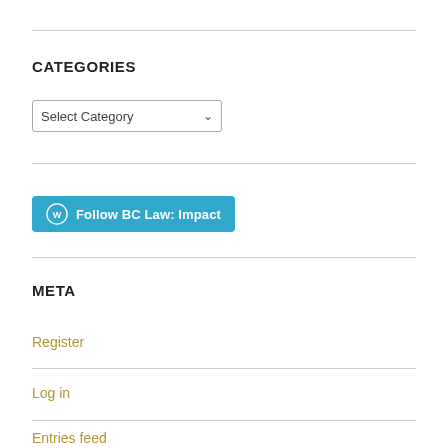CATEGORIES
Select Category
[Figure (other): Follow BC Law: Impact button with WordPress logo icon]
META
Register
Log in
Entries feed